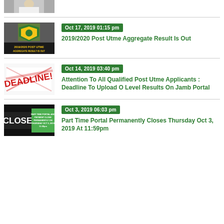[Figure (photo): Partial image of a person in white coat at a desk, cropped at top]
[Figure (photo): 2019/2020 POST UTME AGGREGATE RESULT IS OUT - green and yellow shield logo thumbnail]
Oct 17, 2019 01:15 pm
2019/2020 Post Utme Aggregate Result Is Out
[Figure (photo): DEADLINE! stamp image in red on white background]
Oct 14, 2019 03:40 pm
Attention To All Qualified Post Utme Applicants : Deadline To Upload O Level Results On Jamb Portal
[Figure (photo): CLOSE sign image with text: PART TIME PORTAL AND PAYMENT CLOSE PERMANENTLY ON THURSDAY OCT 3, 2019 11:59pm]
Oct 3, 2019 06:03 pm
Part Time Portal Permanently Closes Thursday Oct 3, 2019 At 11:59pm